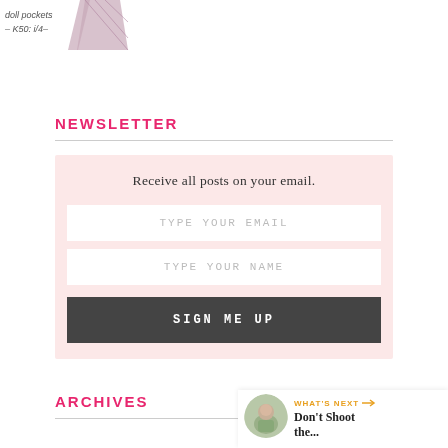[Figure (photo): Partial product image showing a dress with handwritten-style price label 'K50: i/4']
NEWSLETTER
Receive all posts on your email.
TYPE YOUR EMAIL
TYPE YOUR NAME
SIGN ME UP
[Figure (illustration): Floating circular heart button in gold/orange color with heart icon, count of 1, and share icon below]
ARCHIVES
[Figure (photo): What's Next widget showing a circular thumbnail photo and text 'Don't Shoot the...']